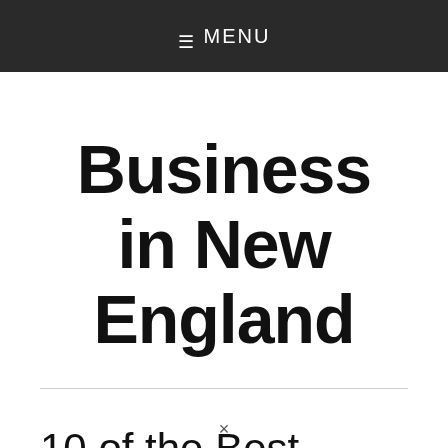☰  MENU
Business in New England
10 of the Best Wedding Photographers in New